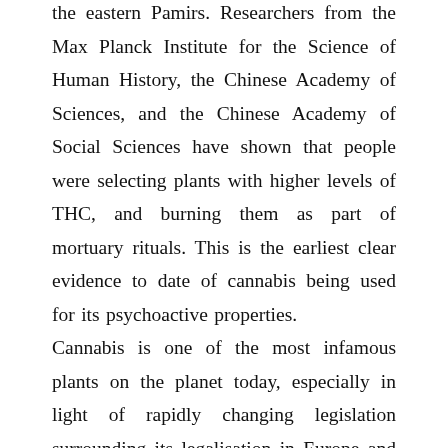the eastern Pamirs. Researchers from the Max Planck Institute for the Science of Human History, the Chinese Academy of Sciences, and the Chinese Academy of Social Sciences have shown that people were selecting plants with higher levels of THC, and burning them as part of mortuary rituals. This is the earliest clear evidence to date of cannabis being used for its psychoactive properties.
Cannabis is one of the most infamous plants on the planet today, especially in light of rapidly changing legislation surrounding its legalisation in Europe and America. Despite the popularity of the plant for its psychoactive properties, very